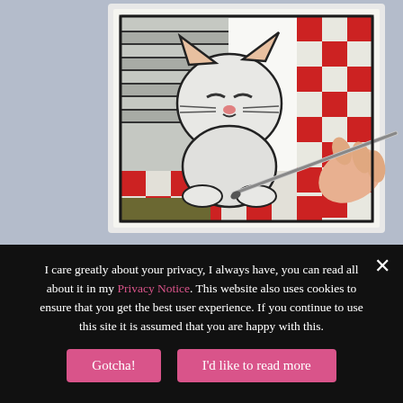[Figure (illustration): A hand holding a paintbrush, coloring a cartoon-style illustration of a smug white cat sitting against striped pillows and a red checkered blanket/quilt. The drawing is on a white card or paper being painted.]
I care greatly about your privacy, I always have, you can read all about it in my Privacy Notice. This website also uses cookies to ensure that you get the best user experience. If you continue to use this site it is assumed that you are happy with this.
Gotcha!
I'd like to read more